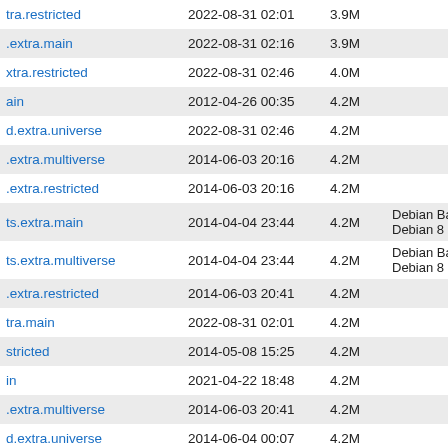| Name | Date | Size | Description |
| --- | --- | --- | --- |
| ...extra.restricted | 2022-08-31 02:01 | 3.9M |  |
| .extra.main | 2022-08-31 02:16 | 3.9M |  |
| ...extra.restricted | 2022-08-31 02:46 | 4.0M |  |
| ...in | 2012-04-26 00:35 | 4.2M |  |
| ...d.extra.universe | 2022-08-31 02:46 | 4.2M |  |
| ...extra.multiverse | 2014-06-03 20:16 | 4.2M |  |
| ...extra.restricted | 2014-06-03 20:16 | 4.2M |  |
| ...ts.extra.main | 2014-04-04 23:44 | 4.2M | Debian Backports r... before Debian 8 Je... |
| ...ts.extra.multiverse | 2014-04-04 23:44 | 4.2M | Debian Backports r... before Debian 8 Je... |
| ...extra.restricted | 2014-06-03 20:41 | 4.2M |  |
| ...tra.main | 2022-08-31 02:01 | 4.2M |  |
| ...stricted | 2014-05-08 15:25 | 4.2M |  |
| ...in | 2021-04-22 18:48 | 4.2M |  |
| ...extra.multiverse | 2014-06-03 20:41 | 4.2M |  |
| ...d.extra.universe | 2014-06-04 00:07 | 4.2M |  |
| ...ts.extra.universe | 2014-04-04 23:44 | 4.2M | Debian Backports r... before Debian 8 Je... |